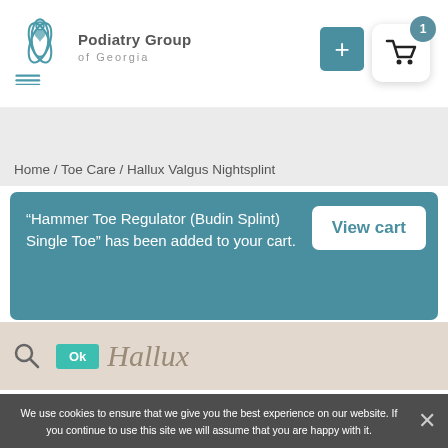[Figure (logo): Podiatry Group of Georgia logo with teal lotus/leaf icon and text]
[Figure (other): Shopping cart icon with badge showing 1 item, and a teal plus button]
Home / Toe Care / Hallux Valgus Nightsplint
“Hammer Toe Regulator (Budin Splint) Single Toe” has been added to your cart.
View cart
We use cookies to ensure that we give you the best experience on our website. If you continue to use this site we will assume that you are happy with it.
Ok